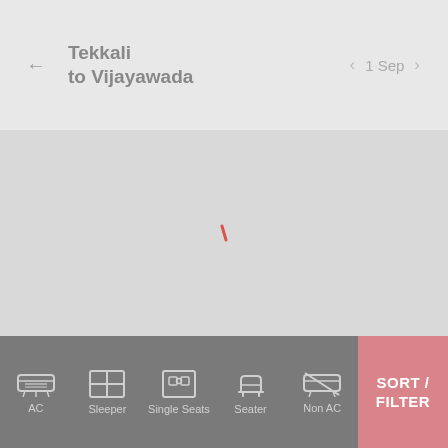Tekkali to Vijayawada  ← 1 Sep
[Figure (screenshot): Loading state screen of a bus booking app showing search results for Tekkali to Vijayawada on 1 Sep. The main content area is empty/loading with a small red spinner indicator in the center. Bottom bar has filter icons for AC, Sleeper, Single Seats, Seater, Non AC, and a Sort/Filter button.]
AC  Sleeper  Single Seats  Seater  Non AC  SORT / FILTER